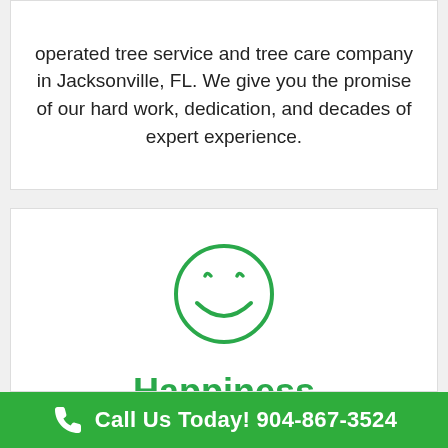operated tree service and tree care company in Jacksonville, FL. We give you the promise of our hard work, dedication, and decades of expert experience.
[Figure (illustration): Green smiley face icon with happy grin and closed smile arc, outline style]
Happiness Guaranteed
Call Us Today! 904-867-3524